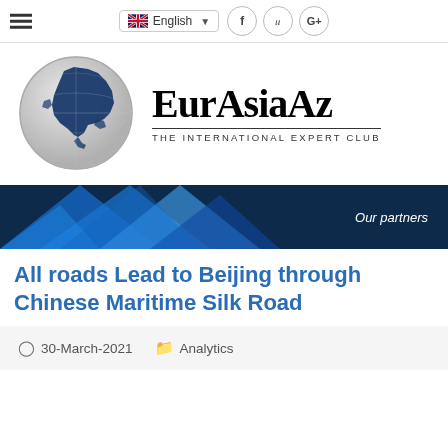English — language selector with social icons (f, G+)
[Figure (logo): EurAsiaAz logo: globe showing Asia highlighted in dark blue, with brand name 'EurAsiaAz' and tagline 'THE INTERNATIONAL EXPERT CLUB']
[Figure (infographic): Blue and dark navy geometric banner with text 'Our partners' on the right side]
All roads Lead to Beijing through Chinese Maritime Silk Road
30-March-2021   Analytics